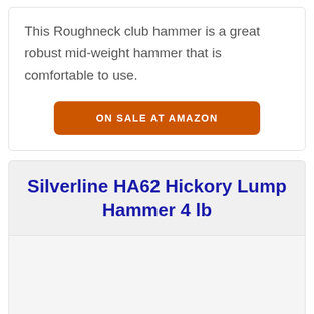This Roughneck club hammer is a great robust mid-weight hammer that is comfortable to use.
ON SALE AT AMAZON
Silverline HA62 Hickory Lump Hammer 4 lb